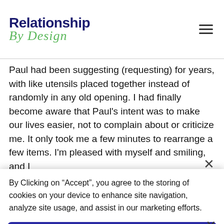Relationship By Design
Paul had been suggesting (requesting) for years, with like utensils placed together instead of randomly in any old opening. I had finally become aware that Paul's intent was to make our lives easier, not to complain about or criticize me. It only took me a few minutes to rearrange a few items. I'm pleased with myself and smiling, and I
By Clicking on "Accept", you agree to the storing of cookies on your device to enhance site navigation, analyze site usage, and assist in our marketing efforts.
Accept All
Deny All
Cookie Settings
Made in Webflow